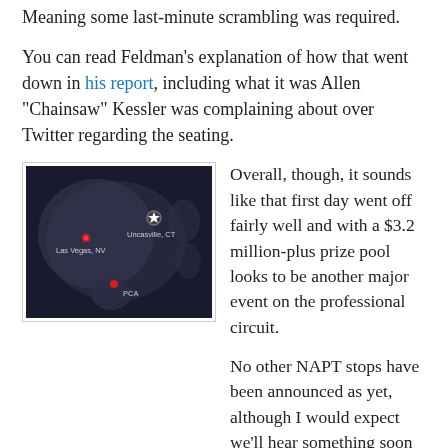Meaning some last-minute scrambling was required.
You can read Feldman’s explanation of how that went down in his report, including what it was Allen “Chainsaw” Kessler was complaining about over Twitter regarding the seating.
[Figure (map): Dark world map with star markers showing Las Vegas NV, Uncasville CT, and PCA locations]
Overall, though, it sounds like that first day went off fairly well and with a $3.2 million-plus prize pool looks to be another major event on the professional circuit.
No other NAPT stops have been announced as yet, although I would expect we’ll hear something soon along those lines. I’ll be interested, partly because I’m hoping perhaps to get a chance to cover one or more of ’em down the line.
Speaking of, I found out yesterday that I will be returning to